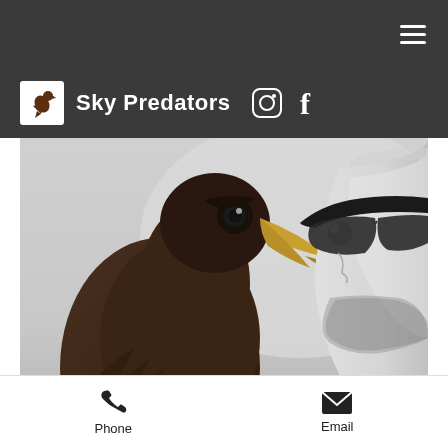Sky Predators
[Figure (photo): Black and white close-up photo of a raptor bird (eagle or hawk) face-to-face with a bearded man wearing sunglasses]
About
Phone
Email